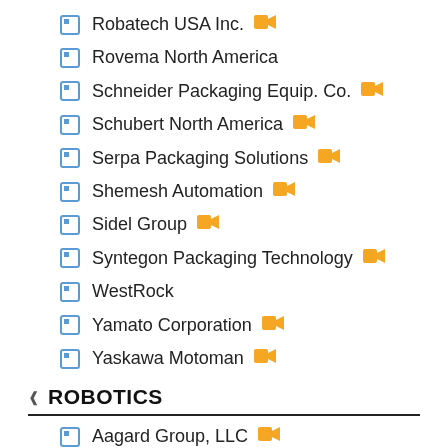Robatech USA Inc.
Rovema North America
Schneider Packaging Equip. Co.
Schubert North America
Serpa Packaging Solutions
Shemesh Automation
Sidel Group
Syntegon Packaging Technology
WestRock
Yamato Corporation
Yaskawa Motoman
ROBOTICS
Aagard Group, LLC
Anubis 3D Industrial solutions Inc